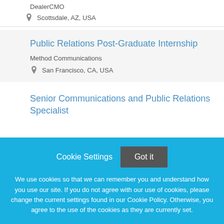DealerCMO
Scottsdale, AZ, USA
Public Relations Post-Graduate Internship
Method Communications
San Francisco, CA, USA
Senior Communications and Public Relations Specialist
Cookie Settings
Got it
We use cookies so that we can remember you and understand how you use our site. If you do not agree with our use of cookies, please change the current settings found in our Cookie Policy. Otherwise, you agree to the use of the cookies as they are currently set.